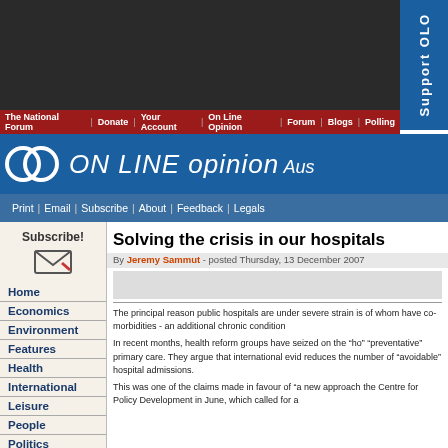[Figure (screenshot): Dark banner area at top of website]
The National Forum | Donate | Your Account | On Line Opinion | Forum | Blogs | Polling
[Figure (logo): ON LINE opinion Australia logo with two overlapping circles]
Print | Email | Subscribe | About | Feedback | Legals
Solving the crisis in our hospitals
By Jeremy Sammut - posted Thursday, 13 December 2007
The principal reason public hospitals are under severe strain is of whom have co-morbidities - an additional chronic condition
In recent months, health reform groups have seized on the "ho "preventative" primary care. They argue that international evid reduces the number of "avoidable" hospital admissions.
This was one of the claims made in favour of "a new approach the Centre for Policy Development in June, which called for a
Home
Economics
Environment
Features
Health
International
Leisure
People
Politics
Technology